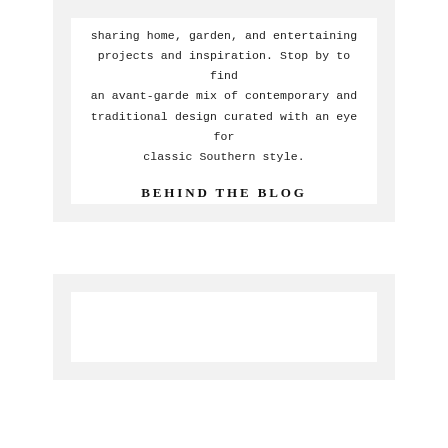sharing home, garden, and entertaining projects and inspiration. Stop by to find an avant-garde mix of contemporary and traditional design curated with an eye for classic Southern style.
BEHIND THE BLOG
[Figure (other): White rectangle placeholder inside a light grey card, lower section of the page]